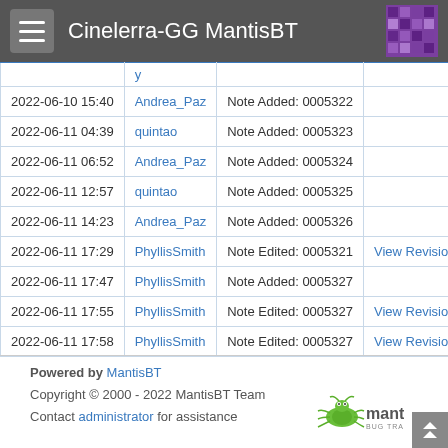Cinelerra-GG MantisBT
| Date | Username | Action |  |
| --- | --- | --- | --- |
|  | y |  |  |
| 2022-06-10 15:40 | Andrea_Paz | Note Added: 0005322 |  |
| 2022-06-11 04:39 | quintao | Note Added: 0005323 |  |
| 2022-06-11 06:52 | Andrea_Paz | Note Added: 0005324 |  |
| 2022-06-11 12:57 | quintao | Note Added: 0005325 |  |
| 2022-06-11 14:23 | Andrea_Paz | Note Added: 0005326 |  |
| 2022-06-11 17:29 | PhyllisSmith | Note Edited: 0005321 | View Revisions |
| 2022-06-11 17:47 | PhyllisSmith | Note Added: 0005327 |  |
| 2022-06-11 17:55 | PhyllisSmith | Note Edited: 0005327 | View Revisions |
| 2022-06-11 17:58 | PhyllisSmith | Note Edited: 0005327 | View Revisions |
Powered by MantisBT
Copyright © 2000 - 2022 MantisBT Team
Contact administrator for assistance